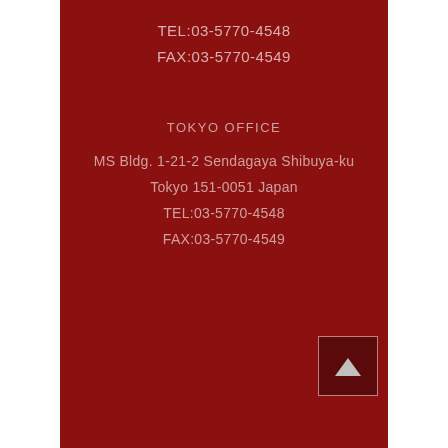TEL:03-5770-4548
FAX:03-5770-4549
TOKYO OFFICE
MS Bldg. 1-21-2 Sendagaya Shibuya-ku
Tokyo 151-0051 Japan
TEL:03-5770-4548
FAX:03-5770-4549
[Figure (other): Up arrow navigation button, dark red background with light border]